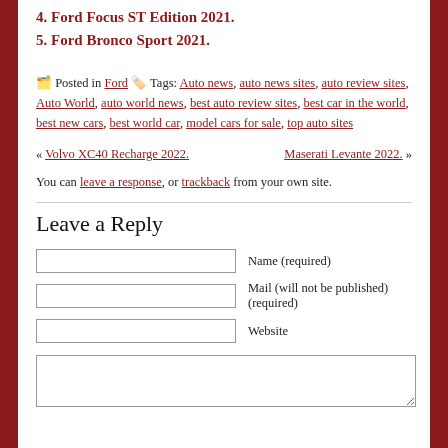4. Ford Focus ST Edition 2021.
5. Ford Bronco Sport 2021.
Posted in Ford  Tags: Auto news, auto news sites, auto review sites, Auto World, auto world news, best auto review sites, best car in the world, best new cars, best world car, model cars for sale, top auto sites
« Volvo XC40 Recharge 2022.    Maserati Levante 2022. »
You can leave a response, or trackback from your own site.
Leave a Reply
Name (required)
Mail (will not be published) (required)
Website